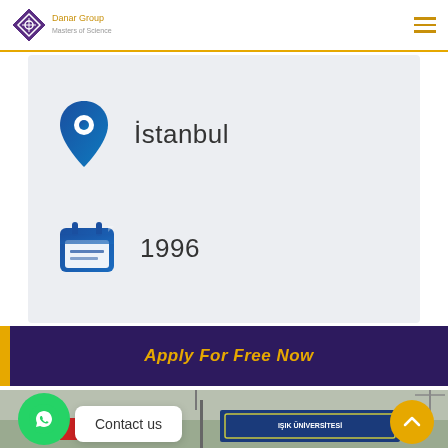Danar Group — header with logo and menu
İstanbul
1996
Apply For Free Now
[Figure (photo): University campus entrance with Işık Üniversitesi sign]
Contact us